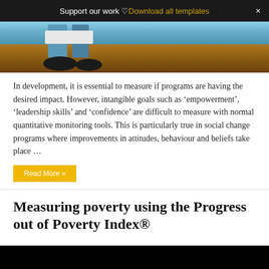Support our work ♡ Download all templates ×
[Figure (photo): Close-up photo of person's feet and lower legs standing on bare earth/soil, wearing light blue and dark clothing with dark shoes.]
In development, it is essential to measure if programs are having the desired impact. However, intangible goals such as 'empowerment', 'leadership skills' and 'confidence' are difficult to measure with normal quantitative monitoring tools. This is particularly true in social change programs where improvements in attitudes, behaviour and beliefs take place …
Read More »
Measuring poverty using the Progress out of Poverty Index®
[Figure (photo): Black/dark image, likely a video thumbnail.]